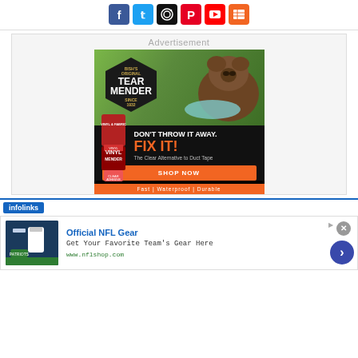[Figure (other): Social media icons row: Facebook (blue), Twitter (light blue), Instagram (black), Pinterest (red), YouTube (red), RSS (orange)]
[Figure (other): Advertisement banner for Tear Mender / Vinyl Mender. Shows hexagonal logo 'Bish's Original Tear Mender Since 1932', a bear chewing fabric, product bottles, text: DON'T THROW IT AWAY. FIX IT! The Clear Alternative to Duct Tape. SHOP NOW. Fast | Waterproof | Durable]
[Figure (other): Infolinks ad network bar with logo]
[Figure (other): Infolinks advertisement for Official NFL Gear from www.nflshop.com. Shows NFL jerseys thumbnail, title 'Official NFL Gear', description 'Get Your Favorite Team's Gear Here', URL www.nflshop.com, close button X, blue arrow button, and AdChoices icon]